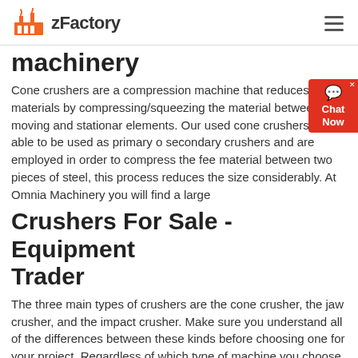zFactory
machinery
Cone crushers are a compression machine that reduces materials by compressing/squeezing the material between moving and stationary elements. Our used cone crushers are able to be used as primary or secondary crushers and are employed in order to compress the feed material between two pieces of steel, this process reduces the size considerably. At Omnia Machinery you will find a large
Crushers For Sale - Equipment Trader
The three main types of crushers are the cone crusher, the jaw crusher, and the impact crusher. Make sure you understand all of the differences between these kinds before choosing one for your project. Regardless of which type of machine you choose, you should be
Used Cone Crusher for sale. equipment & more | Machinio